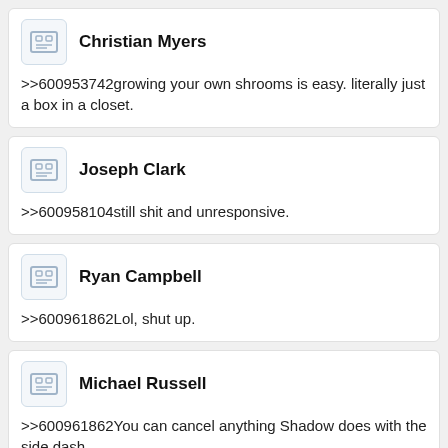Christian Myers
>>600953742growing your own shrooms is easy. literally just a box in a closet.
Joseph Clark
>>600958104still shit and unresponsive.
Ryan Campbell
>>600961862Lol, shut up.
Michael Russell
>>600961862You can cancel anything Shadow does with the side dash.
Alexander Baker